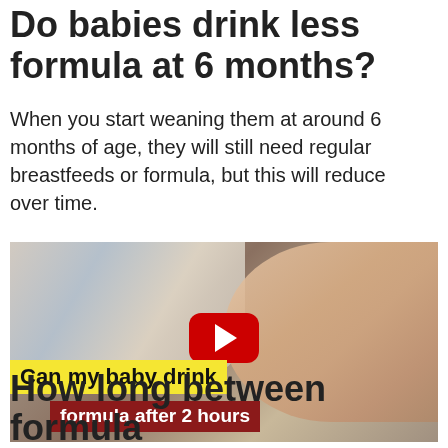Do babies drink less formula at 6 months?
When you start weaning them at around 6 months of age, they will still need regular breastfeeds or formula, but this will reduce over time.
[Figure (screenshot): Video thumbnail showing a baby drinking from a bottle. A red YouTube play button is centered on the image. Yellow text overlay reads 'Can my baby drink' and dark red overlay reads 'formula after 2 hours'.]
How long between formula